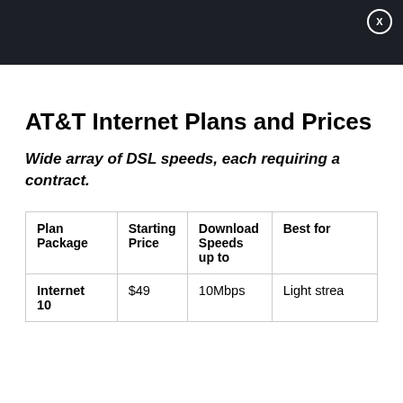AT&T Internet Plans and Prices
Wide array of DSL speeds, each requiring a contract.
| Plan Package | Starting Price | Download Speeds up to | Best for |
| --- | --- | --- | --- |
| Internet 10 | $49 | 10Mbps | Light strea… |